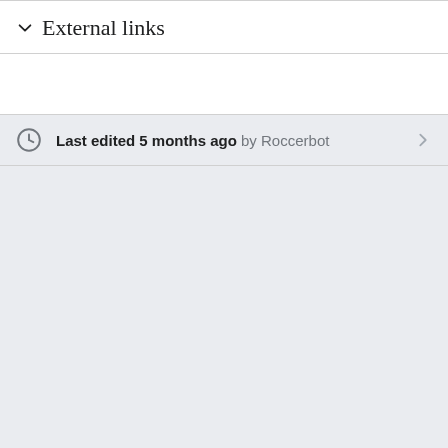External links
Last edited 5 months ago by Roccerbot